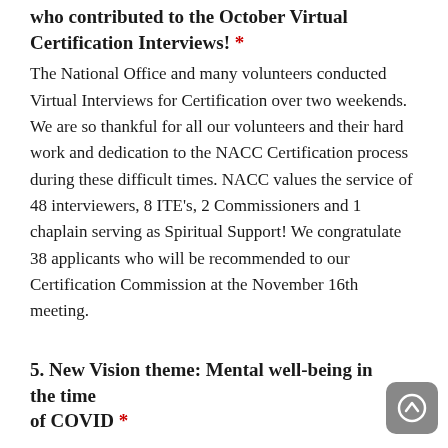who contributed to the October Virtual Certification Interviews! *
The National Office and many volunteers conducted Virtual Interviews for Certification over two weekends. We are so thankful for all our volunteers and their hard work and dedication to the NACC Certification process during these difficult times. NACC values the service of 48 interviewers, 8 ITE's, 2 Commissioners and 1 chaplain serving as Spiritual Support! We congratulate 38 applicants who will be recommended to our Certification Commission at the November 16th meeting.
5. New Vision theme: Mental well-being in the time of COVID *